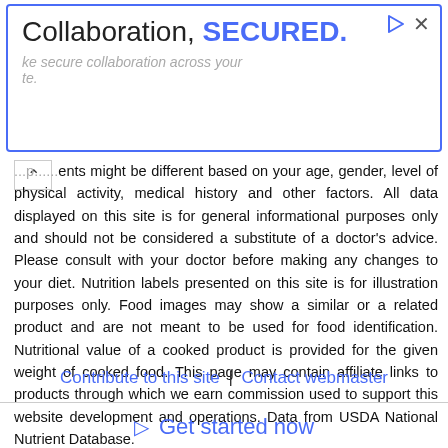[Figure (other): Advertisement banner with blue border showing 'Collaboration, SECURED.' with play and close icons, and faded subtitle text about secure collaboration]
...ents might be different based on your age, gender, level of physical activity, medical history and other factors. All data displayed on this site is for general informational purposes only and should not be considered a substitute of a doctor's advice. Please consult with your doctor before making any changes to your diet. Nutrition labels presented on this site is for illustration purposes only. Food images may show a similar or a related product and are not meant to be used for food identification. Nutritional value of a cooked product is provided for the given weight of cooked food. This page may contain affiliate links to products through which we earn commission used to support this website development and operations. Data from USDA National Nutrient Database.
Contribute to this site | Contact webmaster
▷ Get started now